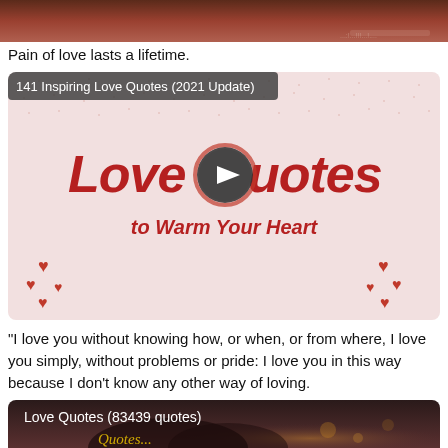[Figure (photo): Top portion of a romantic/sunset photo with dark reddish-brown tones]
Pain of love lasts a lifetime.
[Figure (other): 141 Inspiring Love Quotes (2021 Update) - video thumbnail with 'Love Quotes to Warm Your Heart' text on pink background with heart decorations and a play button overlay]
"I love you without knowing how, or when, or from where, I love you simply, without problems or pride: I love you in this way because I don't know any other way of loving.
[Figure (photo): Love Quotes (83439 quotes) - bottom card with dark romantic image showing silhouette and bokeh lights]